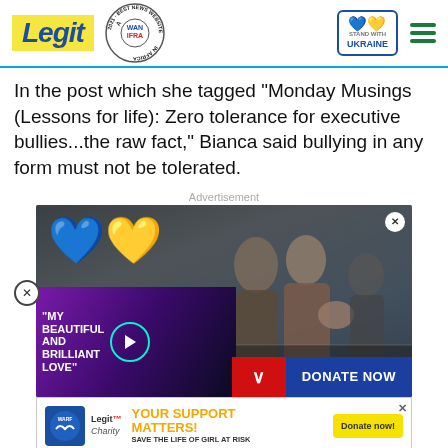Legit | WAN IFRA 2021 Best News Website in Africa | Stand with Ukraine
In the post which she tagged "Monday Musings (Lessons for life): Zero tolerance for executive bullies...the raw fact," Bianca said bullying in any form must not be tolerated.
Advertisement
[Figure (photo): Ukraine war photo ad showing people evacuating through rubble with a Ukrainian flag heart overlay. Overlaid with a video promotion for 'My Beautiful and Brilliant Love' and a 'Donate Now' button.]
[Figure (infographic): Legit Charity banner ad: YOUR SUPPORT MATTERS! SAVE THE LIFE OF GIRL AT RISK, with WARF and Legit Charity logos and Donate now button.]